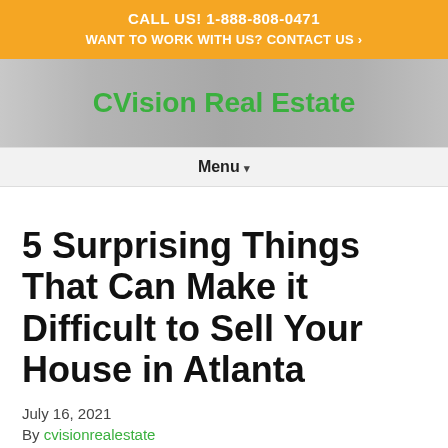CALL US! 1-888-808-0471
WANT TO WORK WITH US? CONTACT US ›
CVision Real Estate
Menu ▾
5 Surprising Things That Can Make it Difficult to Sell Your House in Atlanta
July 16, 2021
By cvisionrealestate